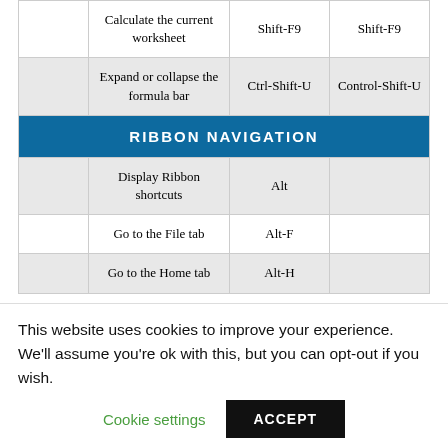|  | Action | Windows | Mac |
| --- | --- | --- | --- |
|  | Calculate the current worksheet | Shift-F9 | Shift-F9 |
|  | Expand or collapse the formula bar | Ctrl-Shift-U | Control-Shift-U |
| RIBBON NAVIGATION |  |  |  |
|  | Display Ribbon shortcuts | Alt |  |
|  | Go to the File tab | Alt-F |  |
|  | Go to the Home tab | Alt-H |  |
This website uses cookies to improve your experience. We'll assume you're ok with this, but you can opt-out if you wish.
Cookie settings | ACCEPT